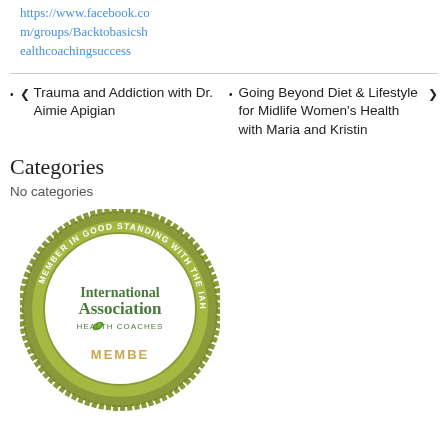https://www.facebook.com/groups/Backtobasicshealthcoachingsuccess
< Trauma and Addiction with Dr. Aimie Apigian
Going Beyond Diet & Lifestyle for Midlife Women's Health with Maria and Kristin >
Categories
No categories
[Figure (logo): International Association of Health Coaches Member in Good Standing badge - circular green badge with inner white circle and text]